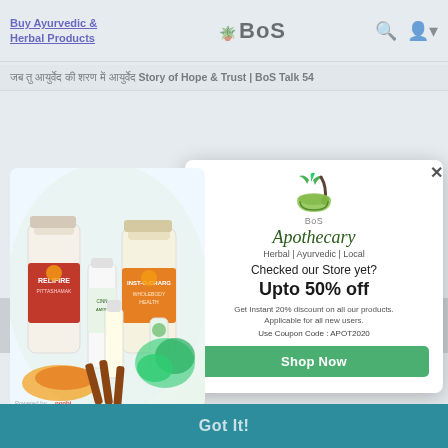Buy Ayurvedic & Herbal Products | BoS
जब तु आयुर्वेद की शरण में आयुर्वेद Story of Hope & Trust | BoS Talk 54
[Figure (screenshot): Modal popup overlay showing BoS Apothecary advertisement with product bottles (Relifire, Inst-O-Charge) and herbal ingredients (turmeric, cinnamon sticks, fresh herbs). Modal shows 'Checked our Store yet? Upto 50% off' with coupon code APOT2020 and Shop Now button.]
Checked our Store yet?
Upto 50% off
Get Instant 20% discount on all our products. Applicable for all new users.
Use Coupon Code : APOT2020
Shop Now
Jab tum... Poem...
Got It!